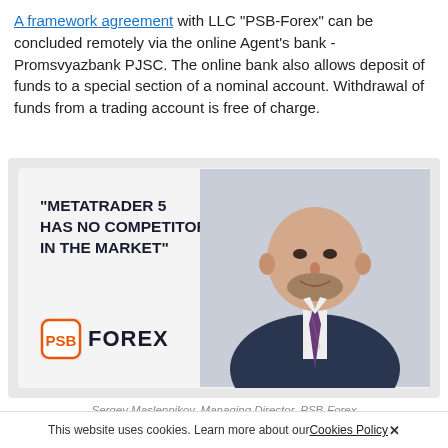A framework agreement with LLC "PSB-Forex" can be concluded remotely via the online Agent's bank - Promsvyazbank PJSC. The online bank also allows deposit of funds to a special section of a nominal account. Withdrawal of funds from a trading account is free of charge.
[Figure (photo): Promotional banner for PSB-Forex featuring a quote 'METATRADER 5 HAS NO COMPETITORS IN THE MARKET', the PSB-Forex logo, and a photo of a bald man in a dark suit with a tie.]
Sergey Maslennikov, Managing Director, PSB-Forex
This website uses cookies. Learn more about our Cookies Policy ✕